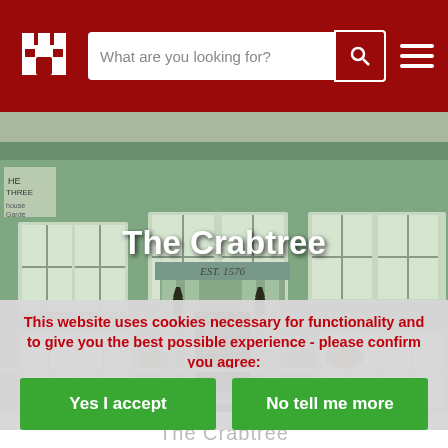What are you looking for? [search bar with icon] [hamburger menu]
[Figure (photo): Photograph of The Crabtree pub/restaurant exterior — a mint-green painted two-storey building with white-framed sash windows, a classical columned entrance portico with EST. 1576 inscribed, lantern lights at the entrance, hanging flower baskets, and a red parking notice. Text 'The Crabtree' overlaid in white bold type.]
This website uses cookies necessary for functionality and to give you the best possible experience - please confirm you agree:
Yes I accept
No tell me more
The Crabtree